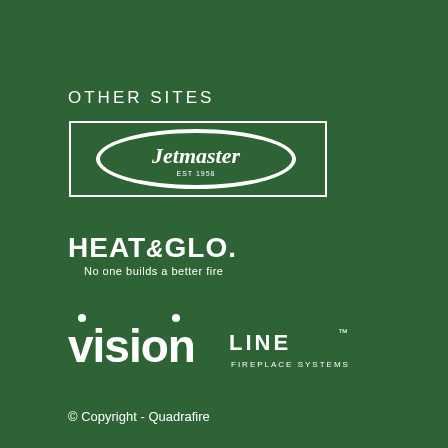OTHER SITES
[Figure (logo): Jetmaster logo - oval shaped logo with 'Jetmaster EST 1958' text in white on dark background, surrounded by a rectangular white border frame]
[Figure (logo): Heat & Glo logo - text reads 'HEAT&GLO.' in bold white uppercase with tagline 'No one builds a better fire' below in smaller white text]
[Figure (logo): VisionLine Fireplace Systems logo - 'vision' in large lowercase white text followed by 'LINE' in smaller white uppercase, with 'FIREPLACE SYSTEMS' below in small white uppercase tracking]
© Copyright - Quadrafire